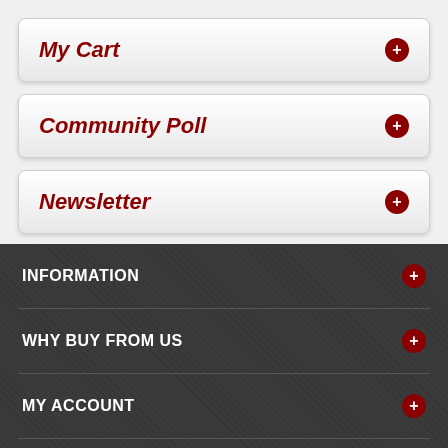My Cart
Community Poll
Newsletter
INFORMATION
WHY BUY FROM US
MY ACCOUNT
SOCIALS